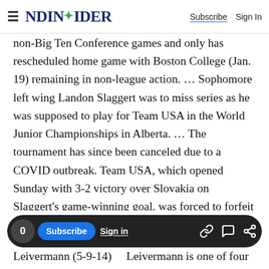NDINSiDER — Subscribe | Sign In
non-Big Ten Conference games and only has rescheduled home game with Boston College (Jan. 19) remaining in non-league action. ... Sophomore left wing Landon Slaggert was to miss series as he was supposed to play for Team USA in the World Junior Championships in Alberta. ... The tournament has since been canceled due to a COVID outbreak. Team USA, which opened Sunday with 3-2 victory over Slovakia on Slaggert's game-winning goal, was forced to forfeit second game Tuesday to Switzerland because of COVID-19 issues. ... Junior right wing Max Ellis (11-9-20) leads Irish in scoring by four
Leivermann (5-9-14)    Leivermann is one of four